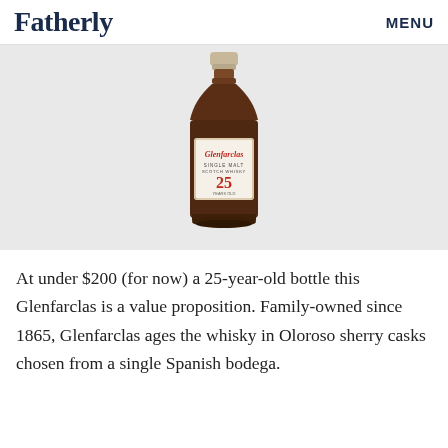Fatherly   MENU
[Figure (photo): A bottle of Glenfarclas 25-year-old single malt Scotch whisky on a light grey background. The bottle has a dark brown/amber body with a cream label showing the Glenfarclas name in red script and '25' prominently displayed. The neck has a metallic gold/silver cap.]
At under $200 (for now) a 25-year-old bottle this Glenfarclas is a value proposition. Family-owned since 1865, Glenfarclas ages the whisky in Oloroso sherry casks chosen from a single Spanish bodega.